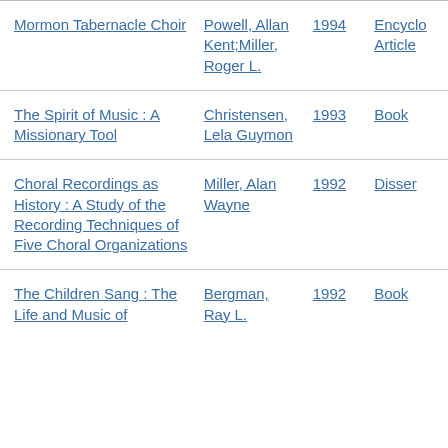| Title | Author | Year | Type |
| --- | --- | --- | --- |
| Mormon Tabernacle Choir | Powell, Allan Kent;Miller, Roger L. | 1994 | Encyclo Article |
| The Spirit of Music : A Missionary Tool | Christensen, Lela Guymon | 1993 | Book |
| Choral Recordings as History : A Study of the Recording Techniques of Five Choral Organizations | Miller, Alan Wayne | 1992 | Disser |
| The Children Sang : The Life and Music of | Bergman, Ray L. | 1992 | Book |